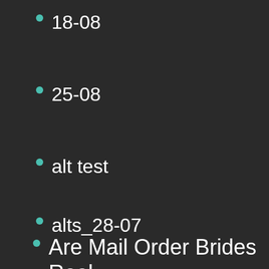18-08
25-08
alt test
alts_28-07
Are Mail Order Brides Real